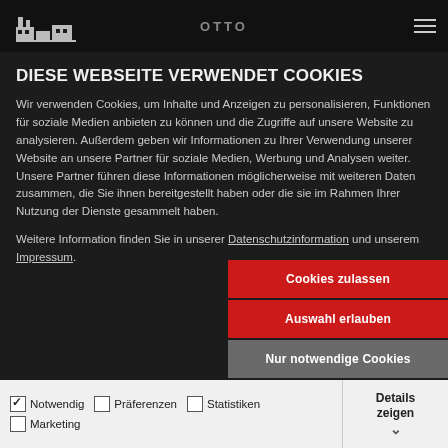OTTO
DIESE WEBSEITE VERWENDET COOKIES
Wir verwenden Cookies, um Inhalte und Anzeigen zu personalisieren, Funktionen für soziale Medien anbieten zu können und die Zugriffe auf unsere Website zu analysieren. Außerdem geben wir Informationen zu Ihrer Verwendung unserer Website an unsere Partner für soziale Medien, Werbung und Analysen weiter. Unsere Partner führen diese Informationen möglicherweise mit weiteren Daten zusammen, die Sie ihnen bereitgestellt haben oder die sie im Rahmen Ihrer Nutzung der Dienste gesammelt haben.
Weitere Information finden Sie in unserer Datenschutzinformation und unserem Impressum.
Cookies zulassen
Auswahl erlauben
Nur notwendige Cookies
Notwendig  Präferenzen  Statistiken  Marketing  Details zeigen